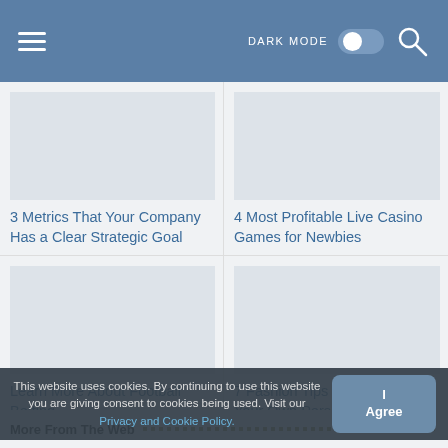DARK MODE [toggle] [search]
3 Metrics That Your Company Has a Clear Strategic Goal
[Figure (photo): Placeholder image for article about company metrics]
4 Most Profitable Live Casino Games for Newbies
[Figure (photo): Placeholder image for article about casino games]
Learn More About Football Betting
[Figure (photo): Placeholder image for football betting article]
7 Fashion Tips for Developing Your Own Personal Style
[Figure (photo): Placeholder image for fashion tips article]
This website uses cookies. By continuing to use this website you are giving consent to cookies being used. Visit our Privacy and Cookie Policy.
More From The Web